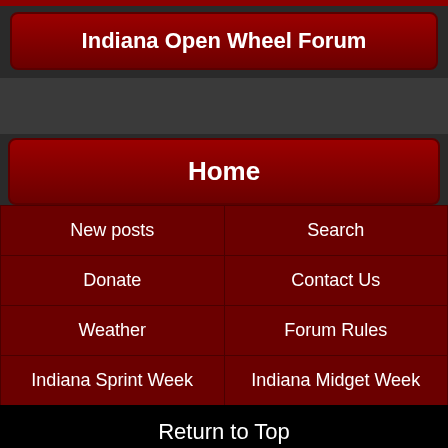Indiana Open Wheel Forum
Home
| New posts | Search |
| Donate | Contact Us |
| Weather | Forum Rules |
| Indiana Sprint Week | Indiana Midget Week |
Return to Top
-- Default Style
Powered by vBulletin® Version 3.8.7
Copyright ©2000 - 2022, vBulletin Solutions, Inc.
© 2005-2021 IndianaOpenWheel.com
Privacy Statement - Terms of Service